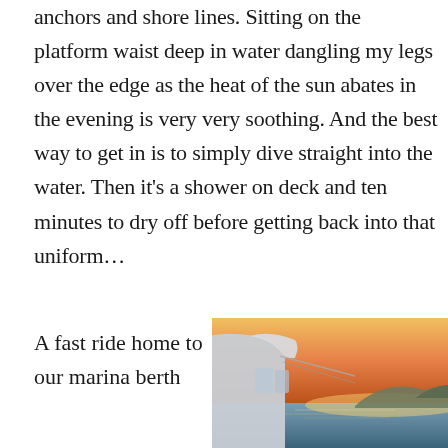anchors and shore lines. Sitting on the platform waist deep in water dangling my legs over the edge as the heat of the sun abates in the evening is very very soothing. And the best way to get in is to simply dive straight into the water. Then it's a shower on deck and ten minutes to dry off before getting back into that uniform...
A fast ride home to our marina berth
[Figure (photo): Photo of a yacht deck at sunset, with a warm orange and golden sky, calm sea water visible, and silhouette of hills in the background]